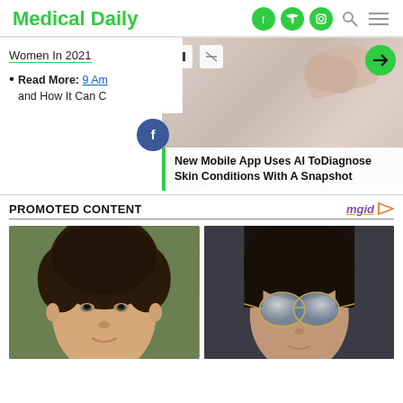Medical Daily
Women In 2021
Read More: 9 Am... and How It Can C...
[Figure (screenshot): Video player showing hands, with pause and mute controls, green arrow button, and caption overlay reading 'New Mobile App Uses AI ToDiagnose Skin Conditions With A Snapshot']
PROMOTED CONTENT
[Figure (photo): Two promotional content images side by side: left shows a man with dark hair smiling, right shows a person with dark hair wearing aviator sunglasses]